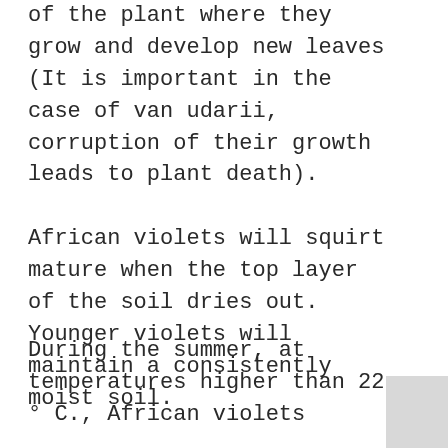of the plant where they grow and develop new leaves (It is important in the case of van udarii, corruption of their growth leads to plant death). African violets will squirt mature when the top layer of the soil dries out. Younger violets will maintain a consistently moist soil. Watering your plants will be regularly. During spring and summer – in the morning, during the fall and winter-day. For irrigation water is recommended at room temperature or 1-2 ° C above calda.Daca plant is watered with cold water the plant roots to rot risk.
During the summer, at temperatures higher than 22 ° C., African violets